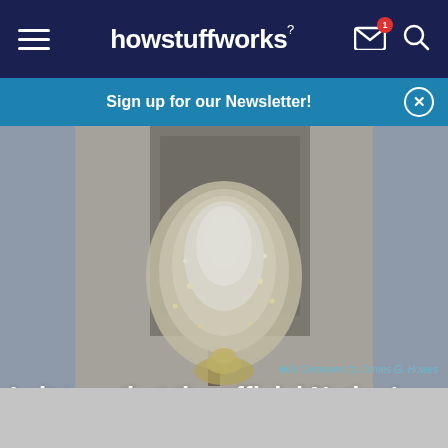howstuffworks
Sign up for our Newsletter!
[Figure (photo): Illuminated Christmas tree at Rockefeller Plaza, vintage-toned photograph showing a large decorated tree with lights at night, with a golden statue (Prometheus) visible at the base.]
Wiki Commons by James G. Howes
Is it true that the official Nation's Christmas Tree of America can be found at 30 Rockefeller Plaza in